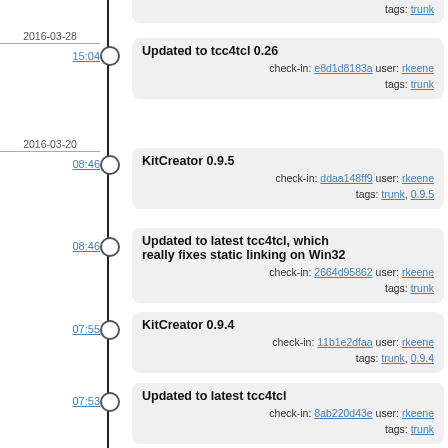tags: trunk
2016-03-28
15:04
Updated to tcc4tcl 0.26
check-in: e8d1d8183a user: rkeene
tags: trunk
2016-03-20
08:46
KitCreator 0.9.5
check-in: ddaa148ff9 user: rkeene
tags: trunk, 0.9.5
08:46
Updated to latest tcc4tcl, which really fixes static linking on Win32
check-in: 2664d95862 user: rkeene
tags: trunk
07:55
KitCreator 0.9.4
check-in: 11b1e2dfaa user: rkeene
tags: trunk, 0.9.4
07:53
Updated to latest tcc4tcl
check-in: 8ab220d43e user: rkeene
tags: trunk